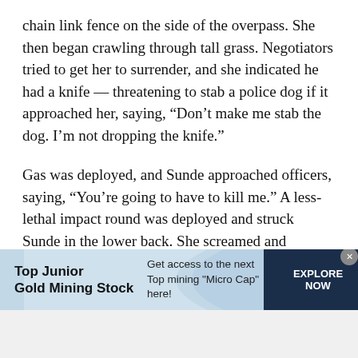chain link fence on the side of the overpass. She then began crawling through tall grass. Negotiators tried to get her to surrender, and she indicated he had a knife — threatening to stab a police dog if it approached her, saying, “Don’t make me stab the dog. I’m not dropping the knife.”
Gas was deployed, and Sunde approached officers, saying, “You’re going to have to kill me.” A less-lethal impact round was deployed and struck Sunde in the lower back. She screamed and continued walking across the highway.
[Figure (other): Advertisement banner for Top Junior Gold Mining Stock. Left section with bold text 'Top Junior Gold Mining Stock', middle section with light blue background and text 'Get access to the next Top mining "Micro Cap" here!', right dark navy section with 'EXPLORE NOW' button. Close button in top right corner.]